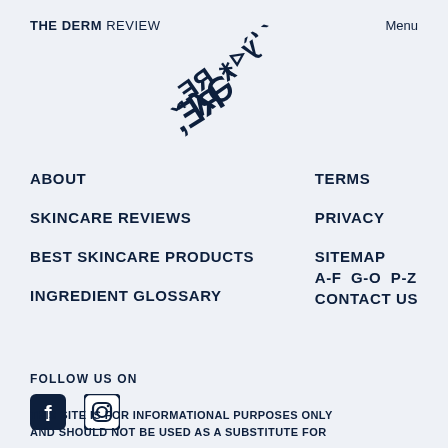THE DERM REVIEW   Menu
[Figure (logo): Rotated/mirrored text showing partial logo letters 'RE,' in a tilted orientation]
ABOUT
SKINCARE REVIEWS
BEST SKINCARE PRODUCTS
INGREDIENT GLOSSARY
TERMS
PRIVACY
SITEMAP
A-F G-O P-Z
CONTACT US
FOLLOW US ON
[Figure (illustration): Facebook and Instagram social media icons]
THIS SITE IS FOR INFORMATIONAL PURPOSES ONLY AND SHOULD NOT BE USED AS A SUBSTITUTE FOR